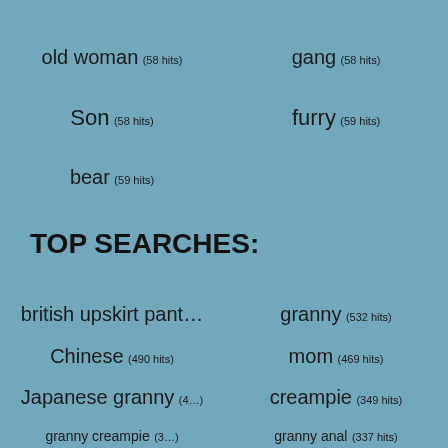old woman (58 hits)
gang (58 hits)
Son (58 hits)
furry (59 hits)
bear (59 hits)
TOP SEARCHES:
british upskirt pant…
granny (532 hits)
Chinese (490 hits)
mom (469 hits)
Japanese granny (4…
creampie (349 hits)
granny creampie (3…
granny anal (337 hits)
grandma (332 hits)
teen (326 hits)
son mother (325 hits)
old (321 hits)
cumshot compilatio…
Asian (291 hits)